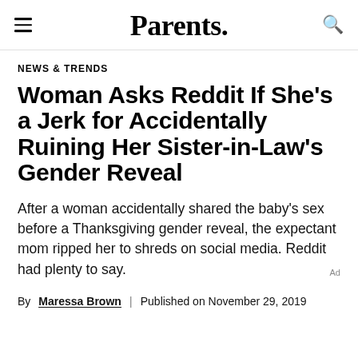Parents.
NEWS & TRENDS
Woman Asks Reddit If She's a Jerk for Accidentally Ruining Her Sister-in-Law's Gender Reveal
After a woman accidentally shared the baby's sex before a Thanksgiving gender reveal, the expectant mom ripped her to shreds on social media. Reddit had plenty to say.
By Maressa Brown | Published on November 29, 2019